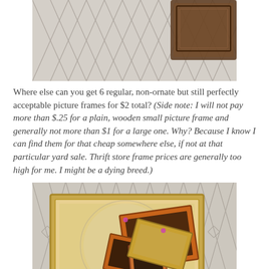[Figure (photo): Top portion of a photo showing picture frames on a geometric patterned rug, cropped at the bottom of the previous page's image.]
Where else can you get 6 regular, non-ornate but still perfectly acceptable picture frames for $2 total? (Side note: I will not pay more than $.25 for a plain, wooden small picture frame and generally not more than $1 for a large one. Why? Because I know I can find them for that cheap somewhere else, if not at that particular yard sale. Thrift store frame prices are generally too high for me. I might be a dying breed.)
[Figure (photo): Photo of multiple picture frames stacked on a geometric patterned rug. Frames include a large gold frame, smaller orange/copper frames, and a round glass plate visible underneath.]